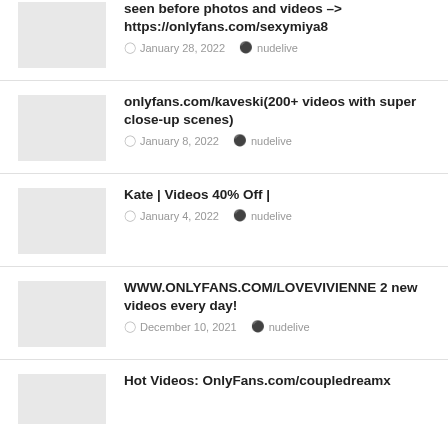seen before photos and videos -> https://onlyfans.com/sexymiya8 | January 28, 2022 | nudelive
onlyfans.com/kaveski(200+ videos with super close-up scenes) | January 8, 2022 | nudelive
Kate | Videos 40% Off | | January 4, 2022 | nudelive
WWW.ONLYFANS.COM/LOVEVIVIENNE 2 new videos every day! | December 10, 2021 | nudelive
Hot Videos: OnlyFans.com/coupledreamx